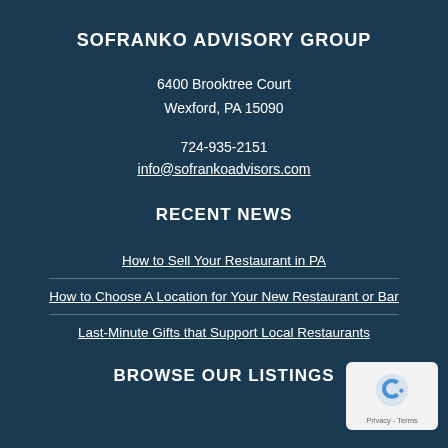SOFRANKO ADVISORY GROUP
6400 Brooktree Court
Wexford, PA 15090
724-935-2151
info@sofrankoadvisors.com
RECENT NEWS
How to Sell Your Restaurant in PA
How to Choose A Location for Your New Restaurant or Bar
Last-Minute Gifts that Support Local Restaurants
BROWSE OUR LISTINGS